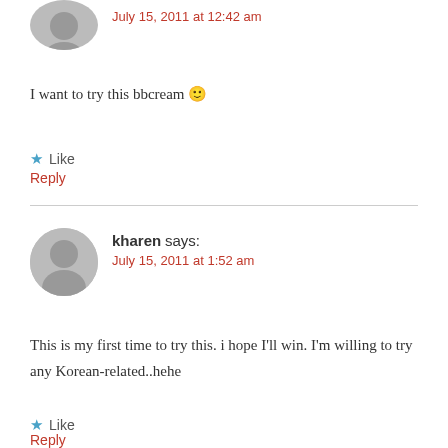July 15, 2011 at 12:42 am
I want to try this bbcream 🙂
★ Like
Reply
kharen says:
July 15, 2011 at 1:52 am
This is my first time to try this. i hope I'll win. I'm willing to try any Korean-related..hehe
★ Like
Reply